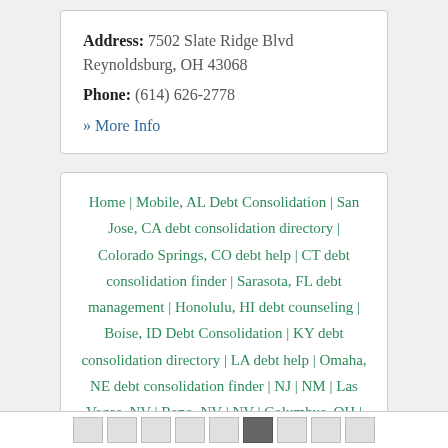Address: 7502 Slate Ridge Blvd Reynoldsburg, OH 43068
Phone: (614) 626-2778
» More Info
Home | Mobile, AL Debt Consolidation | San Jose, CA debt consolidation directory | Colorado Springs, CO debt help | CT debt consolidation finder | Sarasota, FL debt management | Honolulu, HI debt counseling | Boise, ID Debt Consolidation | KY debt consolidation directory | LA debt help | Omaha, NE debt consolidation finder | NJ | NM | Las Vegas, NV | Reno, NV | NV | Columbus, OH | OH | OK | Salem, OR | Greenville, SC | SD | Amarillo, TX | Austin, TX | UT | Tacoma, WA | lawyerforyou.org | Law Guides | Home